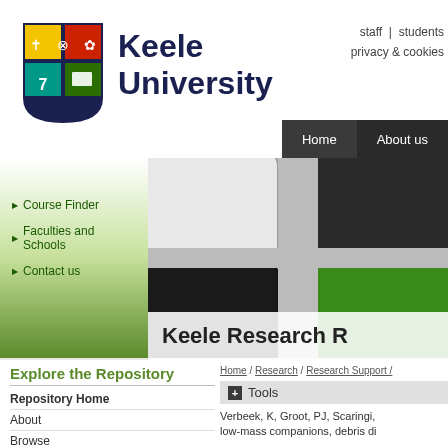[Figure (logo): Keele University shield logo with colored quarters, crown and symbols]
Keele University
staff | students
privacy & cookies
Home | About us
[Figure (photo): Close-up of keyboard keys including a green key, black and white keys with rounded corners]
Course Finder
Faculties and Schools
Contact us
Keele Research R
Explore the Repository
Home / Research / Research Support /
+ Tools
Repository Home
Verbeek, K, Groot, PJ, Scaringi, ... low-mass companions, debris di
About
Browse